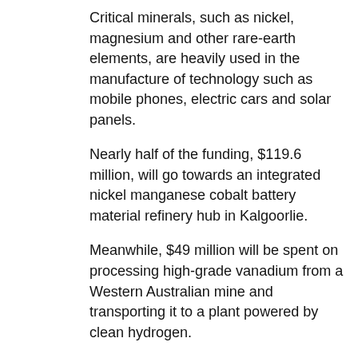Critical minerals, such as nickel, magnesium and other rare-earth elements, are heavily used in the manufacture of technology such as mobile phones, electric cars and solar panels.
Nearly half of the funding, $119.6 million, will go towards an integrated nickel manganese cobalt battery material refinery hub in Kalgoorlie.
Meanwhile, $49 million will be spent on processing high-grade vanadium from a Western Australian mine and transporting it to a plant powered by clean hydrogen.
There will be $30 million set aside for a rare-earth separation plant in the Northern Territory, the second of its type outside China and the first in Australia.
The fourth package will be $45 million to help construct a high-purity alumina production facility near Gladstone in Queensland to help meet rising demand for lithium-ion batteries and LED light...